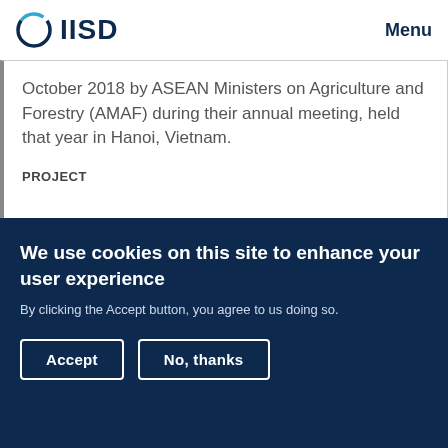IISD Menu
October 2018 by ASEAN Ministers on Agriculture and Forestry (AMAF) during their annual meeting, held that year in Hanoi, Vietnam.
PROJECT
[Figure (photo): Dark teal/green background image, appears to show branches or plant material.]
We use cookies on this site to enhance your user experience
By clicking the Accept button, you agree to us doing so.
Accept
No, thanks